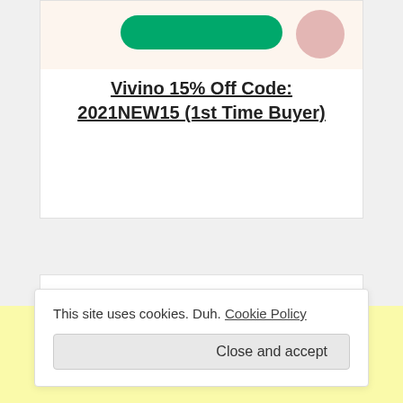[Figure (screenshot): Partial view of a Vivino promotional card with a teal/green rounded button and a pink circle on a cream/peach background]
Vivino 15% Off Code: 2021NEW15 (1st Time Buyer)
This site uses cookies. Duh. Cookie Policy
Close and accept